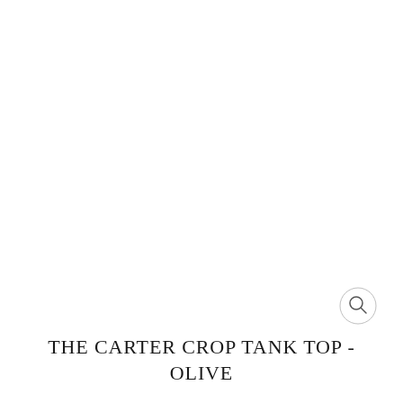[Figure (other): Magnifying glass / zoom icon circle button in the lower right area of the image area]
THE CARTER CROP TANK TOP - OLIVE